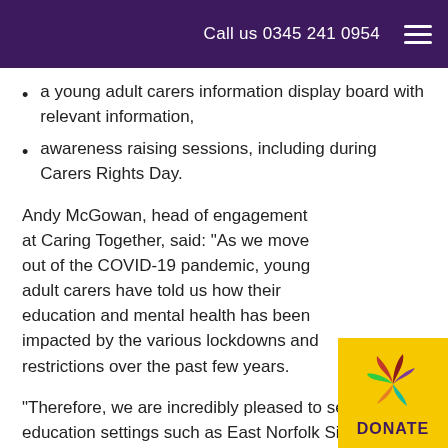Call us 0345 241 0954
a young adult carers information display board with relevant information,
awareness raising sessions, including during Carers Rights Day.
Andy McGowan, head of engagement at Caring Together, said: “As we move out of the COVID-19 pandemic, young adult carers have told us how their education and mental health has been impacted by the various lockdowns and restrictions over the past few years.
“Therefore, we are incredibly pleased to see education settings such as East Norfolk Sixth Form College, taking the initiative to identify and support their student with caring responsibilities.
[Figure (logo): Donate button with a colourful flower/leaf logo on a yellow background, with the text DONATE in purple bold letters.]